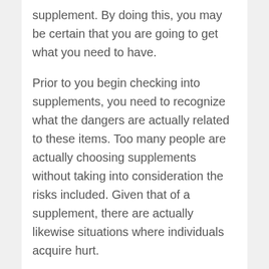supplement. By doing this, you may be certain that you are going to get what you need to have.
Prior to you begin checking into supplements, you need to recognize what the dangers are actually related to these items. Too many people are actually choosing supplements without taking into consideration the risks included. Given that of a supplement, there are actually likewise situations where individuals acquire hurt.
It is actually regularly well to make sure that you are actually using the supplements as driven. It is essential to bear in mind that if you are experiencing negative effects, you are not mosting likely to have the capacity to make use of the product. You can not constantly tell if you are actually having side effects, however you can constantly take your physician's tips to see if everything